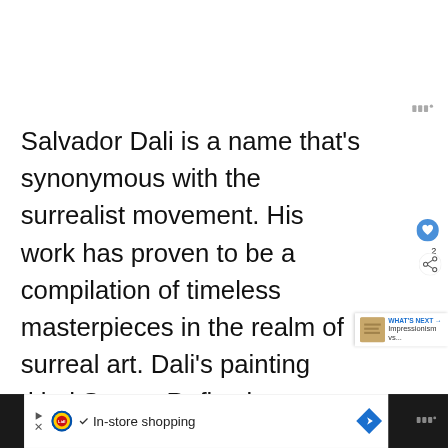Salvador Dali is a name that's synonymous with the surrealist movement. His work has proven to be a compilation of timeless masterpieces in the realm of surreal art. Dali's painting titled Swans Reflecting Elephants is another work that many art critics equate with the peak of surrealism.
[Figure (screenshot): Bottom advertisement bar showing Lidl logo, checkmark, 'In-store shopping' text, and blue diamond arrow icon on dark background]
[Figure (screenshot): UI overlay elements: heart/like button (blue circle), share count '2', share button, 'WHAT'S NEXT' card showing 'Impressionism vs...']